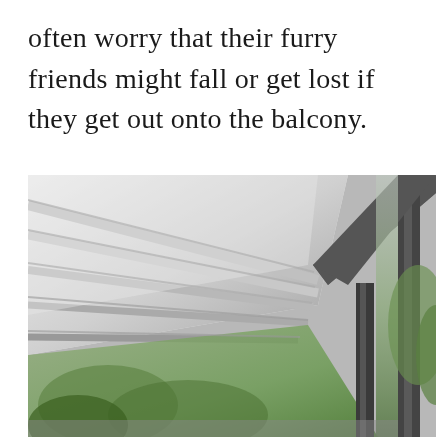often worry that their furry friends might fall or get lost if they get out onto the balcony.
[Figure (photo): Interior view of a glass-enclosed balcony or sunroom with a white paneled ceiling/roof structure, dark metal-framed sliding glass doors, and green trees visible outside through the glass panels.]